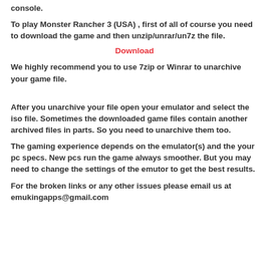console.
To play Monster Rancher 3 (USA) , first of all of course you need to download the game and then unzip/unrar/un7z the file.
Download
We highly recommend you to use 7zip or Winrar to unarchive your game file.
After you unarchive your file open your emulator and select the iso file. Sometimes the downloaded game files contain another archived files in parts. So you need to unarchive them too.
The gaming experience depends on the emulator(s) and the your pc specs. New pcs run the game always smoother. But you may need to change the settings of the emutor to get the best results.
For the broken links or any other issues please email us at emukingapps@gmail.com